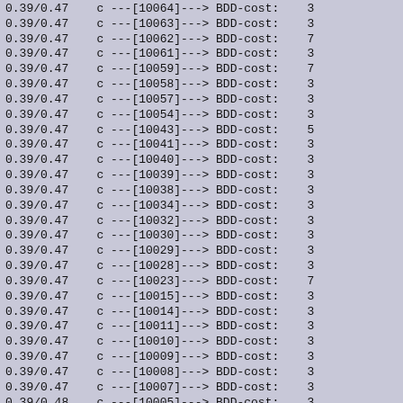0.39/0.47    c ---[10064]---> BDD-cost:    3
0.39/0.47    c ---[10063]---> BDD-cost:    3
0.39/0.47    c ---[10062]---> BDD-cost:    7
0.39/0.47    c ---[10061]---> BDD-cost:    3
0.39/0.47    c ---[10059]---> BDD-cost:    7
0.39/0.47    c ---[10058]---> BDD-cost:    3
0.39/0.47    c ---[10057]---> BDD-cost:    3
0.39/0.47    c ---[10054]---> BDD-cost:    3
0.39/0.47    c ---[10043]---> BDD-cost:    5
0.39/0.47    c ---[10041]---> BDD-cost:    3
0.39/0.47    c ---[10040]---> BDD-cost:    3
0.39/0.47    c ---[10039]---> BDD-cost:    3
0.39/0.47    c ---[10038]---> BDD-cost:    3
0.39/0.47    c ---[10034]---> BDD-cost:    3
0.39/0.47    c ---[10032]---> BDD-cost:    3
0.39/0.47    c ---[10030]---> BDD-cost:    3
0.39/0.47    c ---[10029]---> BDD-cost:    3
0.39/0.47    c ---[10028]---> BDD-cost:    3
0.39/0.47    c ---[10023]---> BDD-cost:    7
0.39/0.47    c ---[10015]---> BDD-cost:    3
0.39/0.47    c ---[10014]---> BDD-cost:    3
0.39/0.47    c ---[10011]---> BDD-cost:    3
0.39/0.47    c ---[10010]---> BDD-cost:    3
0.39/0.47    c ---[10009]---> BDD-cost:    3
0.39/0.47    c ---[10008]---> BDD-cost:    3
0.39/0.47    c ---[10007]---> BDD-cost:    3
0.39/0.48    c ---[10005]---> BDD-cost:    3
0.39/0.48    c ---[10004]---> BDD-cost:    3
0.39/0.48    c ---[10003]---> BDD-cost:    3
0.39/0.48    c ---[10002]---> BDD-cost:    3
0.39/0.48    c ---[10001]---> BDD-cost:    3
0.39/0.48    c ---[10000]---> BDD-cost:    3